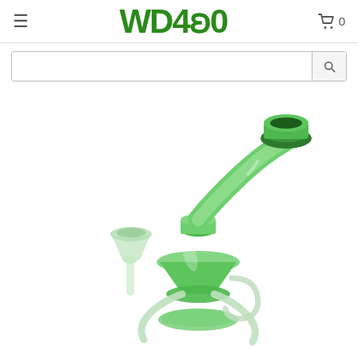WD420 — navigation header with hamburger menu, logo, and cart icon (0 items)
Search bar
[Figure (photo): Green glass water pipe / bong with recycler design, curved neck and mouthpiece, conical bowl attachment on the left, clear glass recycler tubes at the bottom, photographed on white background]